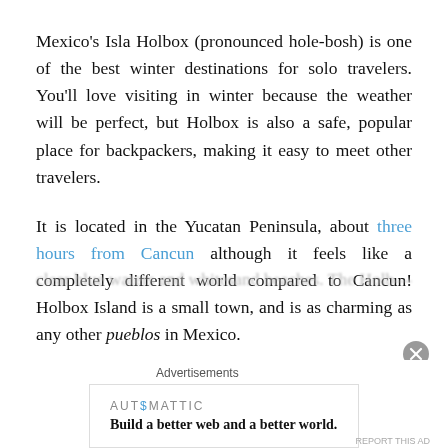Mexico's Isla Holbox (pronounced hole-bosh) is one of the best winter destinations for solo travelers. You'll love visiting in winter because the weather will be perfect, but Holbox is also a safe, popular place for backpackers, making it easy to meet other travelers.
It is located in the Yucatan Peninsula, about three hours from Cancun although it feels like a completely different world compared to Cancun! Holbox Island is a small town, and is as charming as any other pueblos in Mexico.
The island sits right on the Caribbean Sea, with its crystal-clear blue waters and whitesand beaches. The Holb-
Advertisements
[Figure (other): Automattic advertisement banner: 'Build a better web and a better world.']